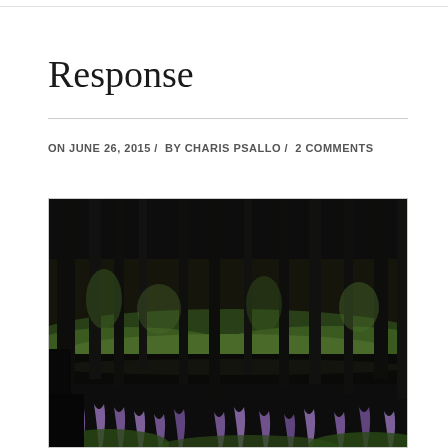Response
ON JUNE 26, 2015 / BY CHARIS PSALLO / 2 COMMENTS
[Figure (photo): Forest scene with dark tree trunks, green undergrowth, and purple lupine wildflowers in the foreground, reflected in dark water.]